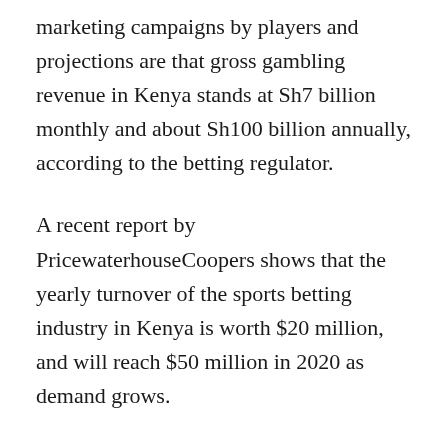marketing campaigns by players and projections are that gross gambling revenue in Kenya stands at Sh7 billion monthly and about Sh100 billion annually, according to the betting regulator.
A recent report by PricewaterhouseCoopers shows that the yearly turnover of the sports betting industry in Kenya is worth $20 million, and will reach $50 million in 2020 as demand grows.
Appropriately, Kenya is the third-largest gambling market after South Africa and Nigeria respectively in Africa in terms of revenues.
Earlier, a total of 17 foreigners, were found guilty